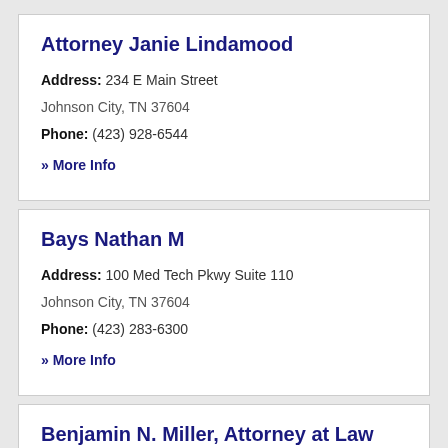Attorney Janie Lindamood
Address: 234 E Main Street
Johnson City, TN 37604
Phone: (423) 928-6544
» More Info
Bays Nathan M
Address: 100 Med Tech Pkwy Suite 110
Johnson City, TN 37604
Phone: (423) 283-6300
» More Info
Benjamin N. Miller, Attorney at Law